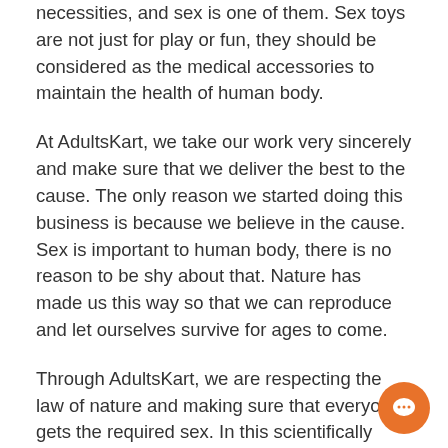necessities, and sex is one of them. Sex toys are not just for play or fun, they should be considered as the medical accessories to maintain the health of human body.
At AdultsKart, we take our work very sincerely and make sure that we deliver the best to the cause. The only reason we started doing this business is because we believe in the cause. Sex is important to human body, there is no reason to be shy about that. Nature has made us this way so that we can reproduce and let ourselves survive for ages to come.
Through AdultsKart, we are respecting the law of nature and making sure that everyone gets the required sex. In this scientifically advanced world, where we have machines for everything, why should sex be left behind.
Sex toys help in understanding the fact that humans are not sex objects. So, objectifying a human for sex is not right, rather buy a toy and stay happy. Sex can be fulfilled without a human. Let's keep human race for love, not just